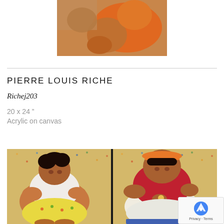[Figure (photo): Partial view of a painting showing orange/brown figurative artwork, cropped at top of page]
PIERRE LOUIS RICHE
Richej203
20 x 24 ”
Acrylic on canvas
[Figure (photo): Two paintings side by side: left shows a heavy-set woman in white top and floral shorts seated; right shows a heavy-set woman in red top with orange hat seated]